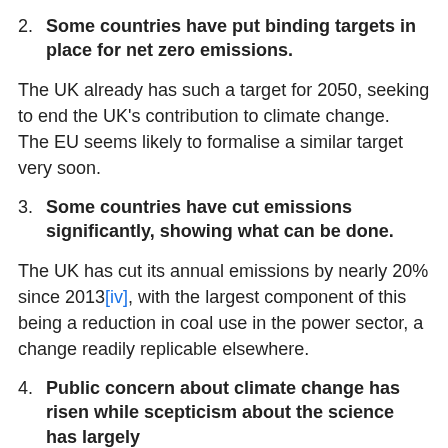2. Some countries have put binding targets in place for net zero emissions.
The UK already has such a target for 2050, seeking to end the UK's contribution to climate change.  The EU seems likely to formalise a similar target very soon.
3. Some countries have cut emissions significantly, showing what can be done.
The UK has cut its annual emissions by nearly 20% since 2013[iv], with the largest component of this being a reduction in coal use in the power sector, a change readily replicable elsewhere.
4. Public concern about climate change has risen while scepticism about the science has largely